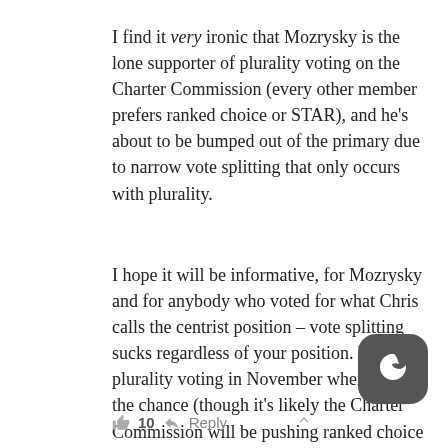I find it very ironic that Mozrysky is the lone supporter of plurality voting on the Charter Commission (every other member prefers ranked choice or STAR), and he’s about to be bumped out of the primary due to narrow vote splitting that only occurs with plurality.
I hope it will be informative, for Mozrysky and for anybody who voted for what Chris calls the centrist position – vote splitting sucks regardless of your position. Vote out plurality voting in November when you get the chance (though it’s likely the Charter Commission will be pushing ranked choice over STAR, which doesn’t actually eliminate vote splitting – it does mitigate it somewhat, though).
10  Reply